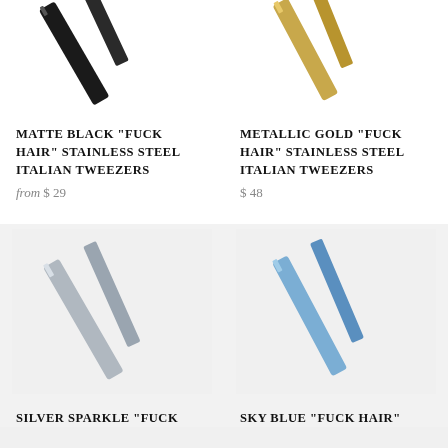[Figure (photo): Matte black tweezers product image, partially cropped at top]
MATTE BLACK "FUCK HAIR" STAINLESS STEEL ITALIAN TWEEZERS
from $ 29
[Figure (photo): Metallic gold tweezers product image, partially cropped at top]
METALLIC GOLD "FUCK HAIR" STAINLESS STEEL ITALIAN TWEEZERS
$ 48
[Figure (photo): Silver sparkle tweezers product image on light grey background]
SILVER SPARKLE "FUCK...
[Figure (photo): Sky blue tweezers product image on light grey background]
SKY BLUE "FUCK HAIR"...